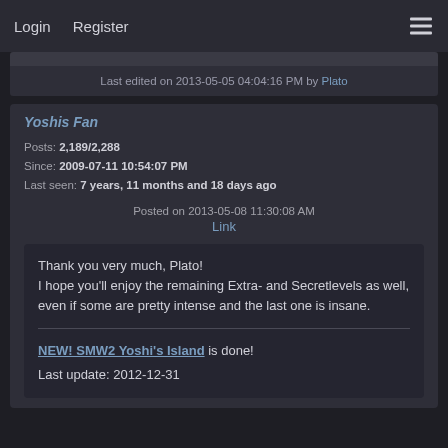Login   Register
Last edited on 2013-05-05 04:04:16 PM by Plato
Yoshis Fan
Posts: 2,189/2,288
Since: 2009-07-11 10:54:07 PM
Last seen: 7 years, 11 months and 18 days ago
Posted on 2013-05-08 11:30:08 AM
Link
Thank you very much, Plato!
I hope you'll enjoy the remaining Extra- and Secretlevels as well, even if some are pretty intense and the last one is insane.

NEW! SMW2 Yoshi's Island is done!
Last update: 2012-12-31